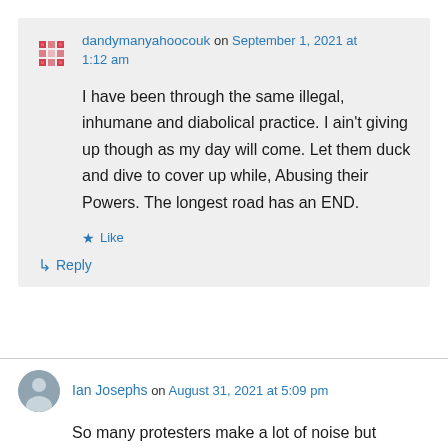dandymanyahoocouk on September 1, 2021 at 1:12 am
I have been through the same illegal, inhumane and diabolical practice. I ain't giving up though as my day will come. Let them duck and dive to cover up while, Abusing their Powers. The longest road has an END.
Like
Reply
Ian Josephs on August 31, 2021 at 5:09 pm
So many protesters make a lot of noise but